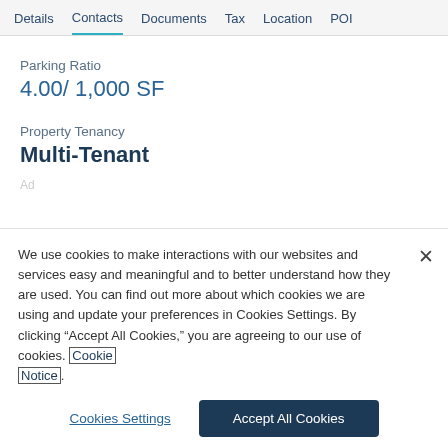Details  Contacts  Documents  Tax  Location  POI
Parking Ratio
4.00/ 1,000 SF
Property Tenancy
Multi-Tenant
We use cookies to make interactions with our websites and services easy and meaningful and to better understand how they are used. You can find out more about which cookies we are using and update your preferences in Cookies Settings. By clicking “Accept All Cookies,” you are agreeing to our use of cookies. Cookie Notice.
Cookies Settings
Accept All Cookies